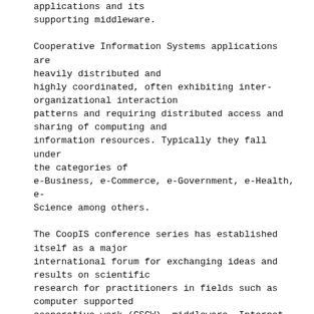applications and its supporting middleware.

Cooperative Information Systems applications are heavily distributed and highly coordinated, often exhibiting inter-organizational interaction patterns and requiring distributed access and sharing of computing and information resources. Typically they fall under the categories of e-Business, e-Commerce, e-Government, e-Health, e-Science among others.

The CoopIS conference series has established itself as a major international forum for exchanging ideas and results on scientific research for practitioners in fields such as computer supported cooperative work (CSCW), middleware, Internet data management, electronic commerce, human-computer interaction, workflow management, agent technologies, and software architectures, to name a few. In addition, the 2008 edition of CoopIs aims to highlight the impact of service oriented computing and the importance of sustainability...